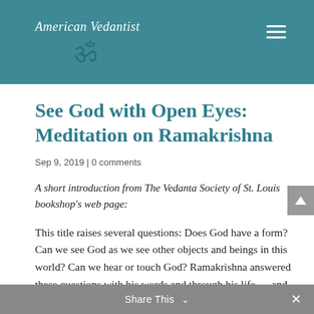American Vedantist
See God with Open Eyes: Meditation on Ramakrishna
Sep 9, 2019 | 0 comments
A short introduction from The Vedanta Society of St. Louis bookshop's web page:
This title raises several questions: Does God have a form? Can we see God as we see other objects and beings in this world? Can we hear or touch God? Ramakrishna answered these questions with his words and through his life — and many of those answers are collected in this book.
Share This